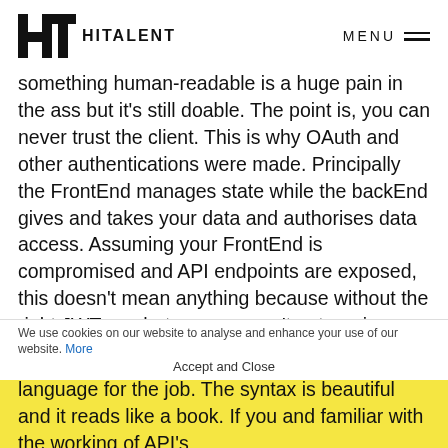HITALENT | MENU
something human-readable is a huge pain in the ass but it's still doable. The point is, you can never trust the client. This is why OAuth and other authentications were made. Principally the FrontEnd manages state while the backEnd gives and takes your data and authorises data access. Assuming your FrontEnd is compromised and API endpoints are exposed, this doesn't mean anything because without the right JWT or whatever you can't get or give data from the API anyway. And if the FrontEnd is compromised, a big deal if you can fake manage state. The FrontEnd should never be your source of truth.
We use cookies on our website to analyse and enhance your use of our website. More
I just love vanilla JavaScript last year as my main language for the job. The syntax is beautiful and it reads like a book. If you and familiar with the working of API's